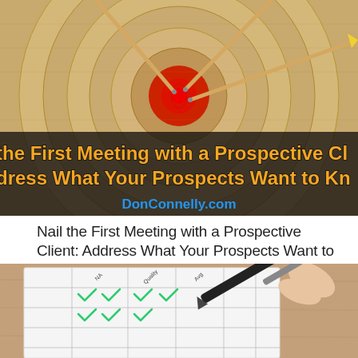[Figure (photo): Overhead photo of a straw archery target (bullseye) with multiple arrows hit in the red center. Overlaid dark banner text reads: 'the First Meeting with a Prospective Cl' and 'dress What Your Prospects Want to Kn' in bold orange letters, and 'DonConnelly.com' in blue text below.]
Nail the First Meeting with a Prospective Client: Address What Your Prospects Want to Know
[Figure (photo): Close-up photo of a hand holding a pen, filling out a checklist or form on paper placed on a wooden surface. Green checkmarks (chevron-style) are visible in the form cells.]